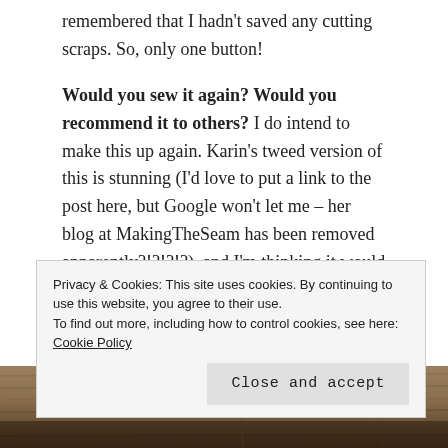remembered that I hadn't saved any cutting scraps. So, only one button!
Would you sew it again? Would you recommend it to others? I do intend to make this up again. Karin's tweed version of this is stunning (I'd love to put a link to the post here, but Google won't let me – her blog at MakingTheSeam has been removed apparently?!?!?!?), and I'm thinking it would be a good style for some broderie anglais I have in my stash.
[Figure (photo): Partial photo of wooden boards/fabric, cropped at bottom of page]
Privacy & Cookies: This site uses cookies. By continuing to use this website, you agree to their use. To find out more, including how to control cookies, see here: Cookie Policy
Close and accept